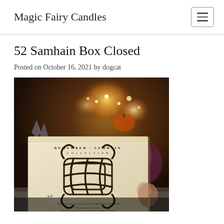Magic Fairy Candles
52 Samhain Box Closed
Posted on October 16, 2021 by dogcat
[Figure (photo): A decorative box labeled 'REMEMBER SAMHAIN' with an ornate knotwork symbol printed on the front, surrounded by candles, flowers, crystals, and autumn decorations in a warm dimly lit setting.]